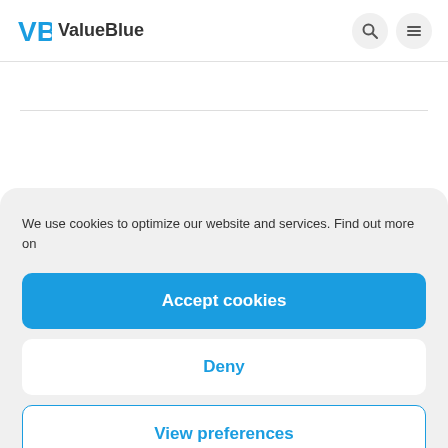VB ValueBlue
We use cookies to optimize our website and services. Find out more on
Accept cookies
Deny
View preferences
Cookie Policy   Privacy Statement